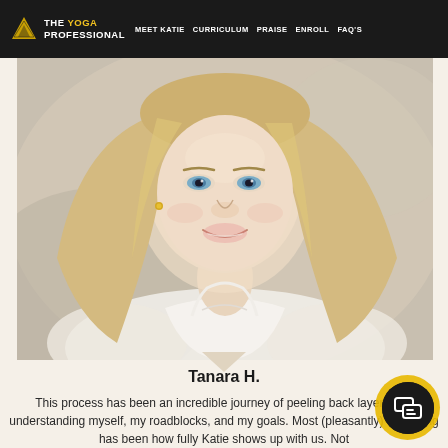THE YOGA PROFESSIONAL | MEET KATIE | CURRICULUM | PRAISE | ENROLL | FAQ'S
[Figure (photo): Close-up portrait of a smiling blonde woman with blue eyes wearing a white top, photographed outdoors against a blurred background]
Tanara H.
This process has been an incredible journey of peeling back layers and understanding myself, my roadblocks, and my goals. Most (pleasantly) surprising has been how fully Katie shows up with us. Not